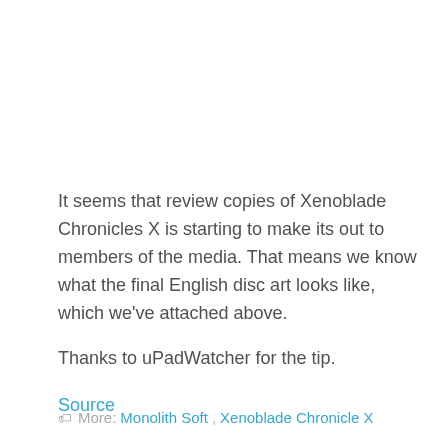It seems that review copies of Xenoblade Chronicles X is starting to make its out to members of the media. That means we know what the final English disc art looks like, which we've attached above.
Thanks to uPadWatcher for the tip.
Source
More: Monolith Soft, Xenoblade Chronicle X